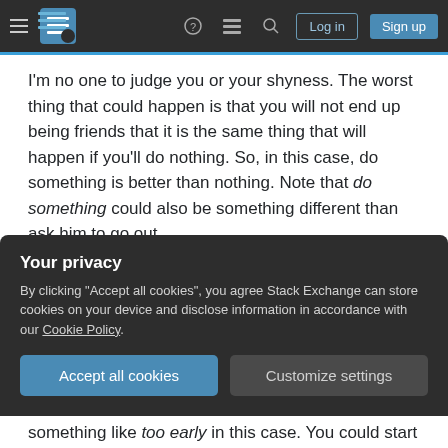Stack Exchange navigation bar with Log in and Sign up buttons
I'm no one to judge you or your shyness. The worst thing that could happen is that you will not end up being friends that it is the same thing that will happen if you'll do nothing. So, in this case, do something is better than nothing. Note that do something could also be something different than ask him to go out.
It's too early. As I said, we met each other a month ago, and because I helped him
Your privacy
By clicking "Accept all cookies", you agree Stack Exchange can store cookies on your device and disclose information in accordance with our Cookie Policy.
Accept all cookies
Customize settings
something like too early in this case. You could start